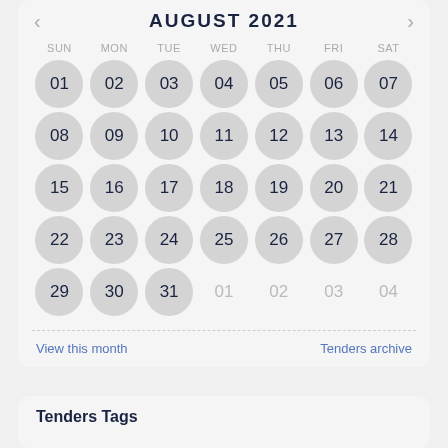AUGUST 2021
| SUN | MON | TUE | WED | THU | FRI | SAT |
| --- | --- | --- | --- | --- | --- | --- |
| 01 | 02 | 03 | 04 | 05 | 06 | 07 |
| 08 | 09 | 10 | 11 | 12 | 13 | 14 |
| 15 | 16 | 17 | 18 | 19 | 20 | 21 |
| 22 | 23 | 24 | 25 | 26 | 27 | 28 |
| 29 | 30 | 31 | 01 | 02 | 03 | 04 |
View this month
Tenders archive
Tenders Tags